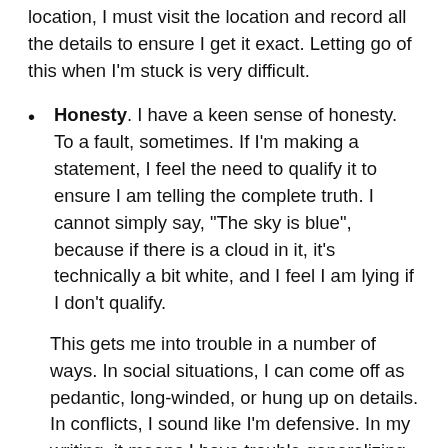location, I must visit the location and record all the details to ensure I get it exact. Letting go of this when I'm stuck is very difficult.
Honesty. I have a keen sense of honesty. To a fault, sometimes. If I'm making a statement, I feel the need to qualify it to ensure I am telling the complete truth. I cannot simply say, "The sky is blue", because if there is a cloud in it, it's technically a bit white, and I feel I am lying if I don't qualify.
This gets me into trouble in a number of ways. In social situations, I can come off as pedantic, long-winded, or hung up on details. In conflicts, I sound like I'm defensive. In my writing, it means I have trouble generalizing. While I can omit information for the sake of tact, I find it impossible to lie or misconstrue truth, even in situations where most people find it acceptable. If someone